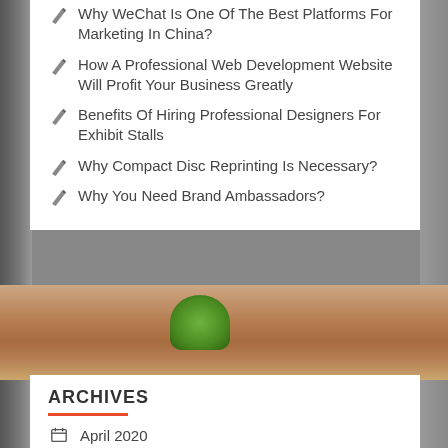Why WeChat Is One Of The Best Platforms For Marketing In China?
How A Professional Web Development Website Will Profit Your Business Greatly
Benefits Of Hiring Professional Designers For Exhibit Stalls
Why Compact Disc Reprinting Is Necessary?
Why You Need Brand Ambassadors?
[Figure (photo): Background photo of a wooden desk with a green plant and papers, partially visible behind white content panels.]
ARCHIVES
April 2020
March 2020
October 2018
July 2018